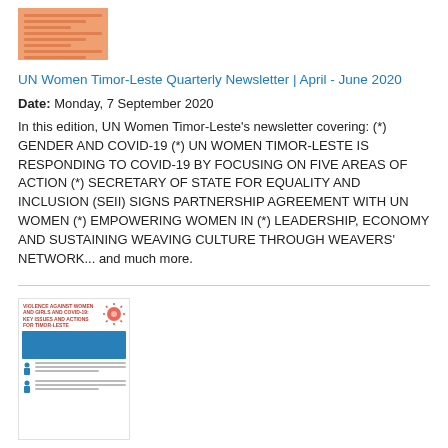[Figure (screenshot): Thumbnail image of UN Women Timor-Leste Quarterly Newsletter document cover, orange/brown colored]
UN Women Timor-Leste Quarterly Newsletter | April - June 2020
Date: Monday, 7 September 2020
In this edition, UN Women Timor-Leste's newsletter covering: (*) GENDER AND COVID-19 (*) UN WOMEN TIMOR-LESTE IS RESPONDING TO COVID-19 BY FOCUSING ON FIVE AREAS OF ACTION (*) SECRETARY OF STATE FOR EQUALITY AND INCLUSION (SEII) SIGNS PARTNERSHIP AGREEMENT WITH UN WOMEN (*) EMPOWERING WOMEN IN (*) LEADERSHIP, ECONOMY AND SUSTAINING WEAVING CULTURE THROUGH WEAVERS' NETWORK... and much more.
[Figure (screenshot): Thumbnail image of Violence against women and girls and COVID-19 document, with blue box and human figure icons]
Violence against women and girls and COVID-19: Key issues and actions for Timor-Leste
Date: Friday, 7 August 2020